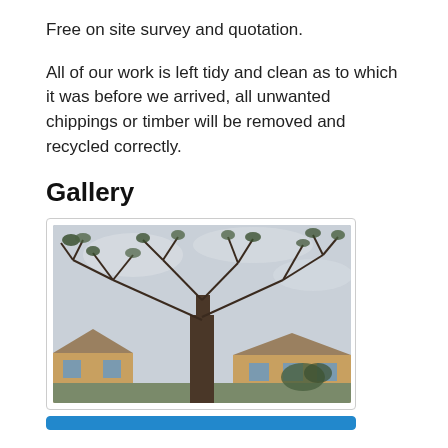Free on site survey and quotation.
All of our work is left tidy and clean as to which it was before we arrived, all unwanted chippings or timber will be removed and recycled correctly.
Gallery
[Figure (photo): Large tree with sparse leafy branches photographed against an overcast sky, with brick residential buildings visible at the base.]
[Figure (photo): Partially visible second gallery image with blue border at bottom of page.]